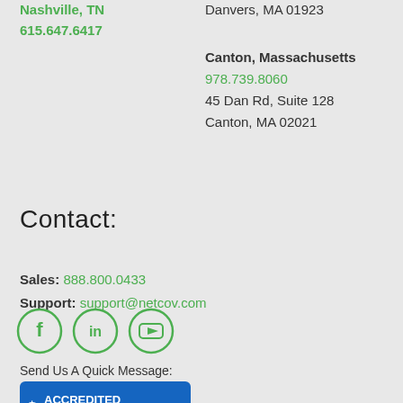Nashville, TN
615.647.6417
Danvers, MA 01923
Canton, Massachusetts
978.739.8060
45 Dan Rd, Suite 128
Canton, MA 02021
Contact:
Sales: 888.800.0433
Support: support@netcov.com
[Figure (other): Social media icons: Facebook, LinkedIn, YouTube in green circles]
Send Us A Quick Message:
[Figure (other): BBB Accredited Business badge with blue background and white text]